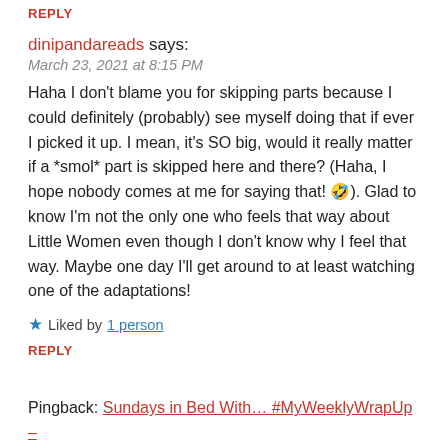REPLY
dinipandareads says:
March 23, 2021 at 8:15 PM
Haha I don't blame you for skipping parts because I could definitely (probably) see myself doing that if ever I picked it up. I mean, it's SO big, would it really matter if a *smol* part is skipped here and there? (Haha, I hope nobody comes at me for saying that! 🤣). Glad to know I'm not the only one who feels that way about Little Women even though I don't know why I feel that way. Maybe one day I'll get around to at least watching one of the adaptations!
★ Liked by 1 person
REPLY
Pingback: Sundays in Bed With… #MyWeeklyWrapUp – dinipandareads.
journeyintobooks says: